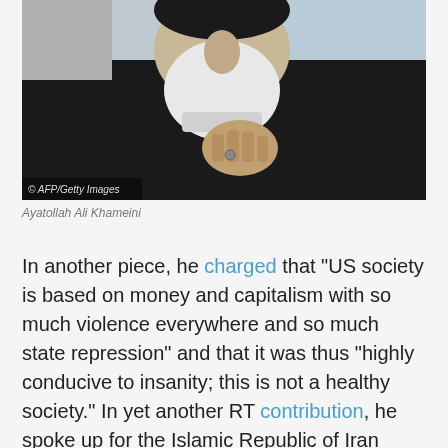[Figure (photo): Photograph of Ayatollah Ali Khameini in black robes with white beard, hand on chest. AFP/Getty Images watermark visible.]
Ayatollah Ali Khameini
In another piece, he charged that “US society is based on money and capitalism with so much violence everywhere and so much state repression” and that it was thus “highly conducive to insanity; this is not a healthy society.” In yet another RT contribution, he spoke up for the Islamic Republic of Iran while smearing pro-democracy Iranian dissidents as liars and impostors.